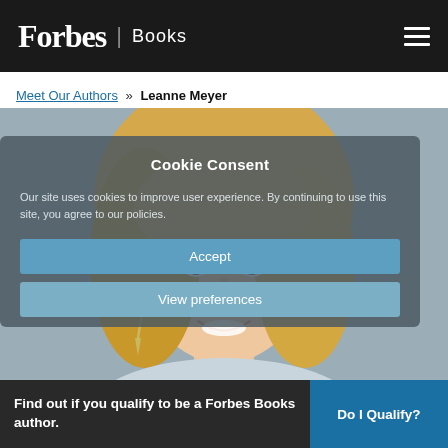Forbes | Books
Meet Our Authors » Leanne Meyer
[Figure (photo): Headshot of Leanne Meyer, a woman with blonde hair and dangling earrings, smiling, with a blue-grey background. A semi-transparent cookie consent overlay is visible on top of the image.]
Cookie Consent
Our site uses cookies to improve user experience. By continuing to use this site, you agree to our policies.
Accept
View preferences
Find out if you qualify to be a Forbes Books author.
Do I Qualify?